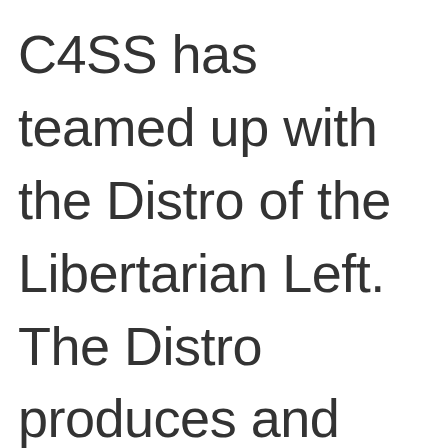C4SS has teamed up with the Distro of the Libertarian Left. The Distro produces and distribute zines and booklets